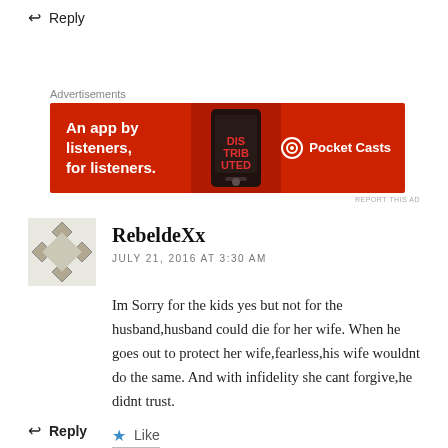↩ Reply
Advertisements
[Figure (screenshot): Red advertisement banner for Pocket Casts podcast app: 'An app by listeners, for listeners.' with phone graphic and Pocket Casts logo]
REPORT THIS AD
RebeldeXx
JULY 21, 2016 AT 3:30 AM
Im Sorry for the kids yes but not for the husband,husband could die for her wife. When he goes out to protect her wife,fearless,his wife wouldnt do the same. And with infidelity she cant forgive,he didnt trust.
Like
↩ Reply